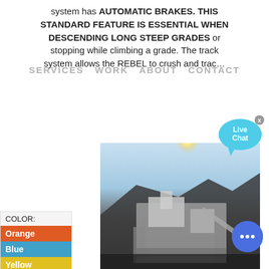system has AUTOMATIC BRAKES. THIS STANDARD FEATURE IS ESSENTIAL WHEN DESCENDING LONG STEEP GRADES or stopping while climbing a grade. The track system allows the REBEL to crush and trac…
SERVICES   WORK   ABOUT   CONTACT
[Figure (photo): Outdoor photo of a mobile crushing plant/machine at a quarry site with bright sun flare and rocky terrain in background]
COLOR:
Orange
Blue
Yellow
Mobile crushing plant for sale, used mobile crushing plant …